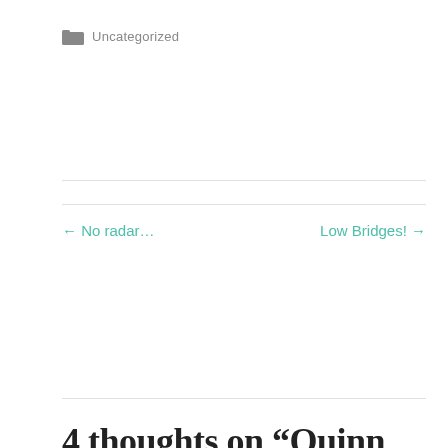Uncategorized
← No radar...
Low Bridges! →
4 thoughts on “Quinn Family Rendezvous on the Erie Canal: Weedsport Rte 34 bridge/wall.”